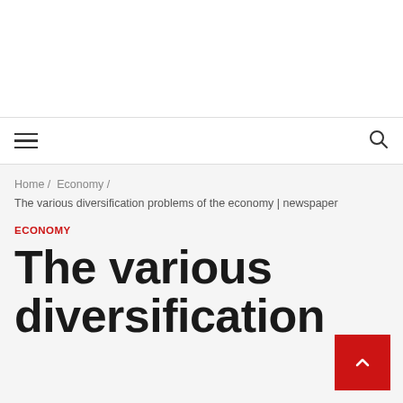Home / Economy / The various diversification problems of the economy | newspaper
ECONOMY
The various diversification